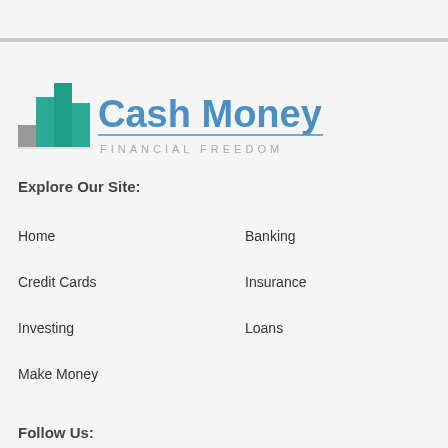[Figure (logo): Cash Money Life logo with bar chart icon and tagline FINANCIAL FREEDOM]
Explore Our Site:
Home
Banking
Credit Cards
Insurance
Investing
Loans
Make Money
Follow Us: